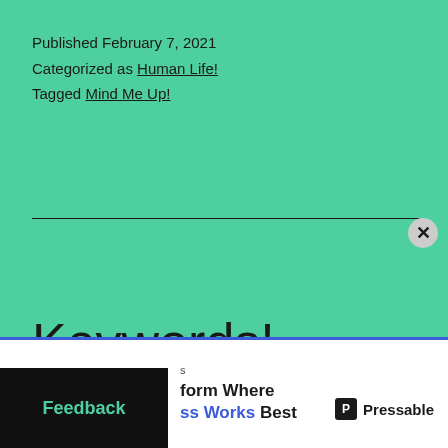Published February 7, 2021
Categorized as Human Life!
Tagged Mind Me Up!
Keywords!
Here you will find list of Keywords! Any
Feedback
form Where
ss Works Best
Pressable